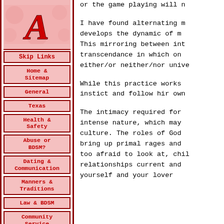[Figure (logo): Red italic letter A logo on pink floral background]
Skip Links
Home & Sitemap
General
Texas
Health & Safety
Abuse or BDSM?
Dating & Communication
Manners & Traditions
Law & BDSM
Community Service
Misc.
About Ambrosio
or the game playing will n...
I have found alternating n... develops the dynamic of m... This mirroring between int... transcendance in which on... either/or neither/nor unive...
While this practice works ... instict and follow hir own ...
The intimacy required for ... intense nature, which may ... culture. The roles of God ... bring up primal rages and ... too afraid to look at, chil... relationships current and ... yourself and your lover ...